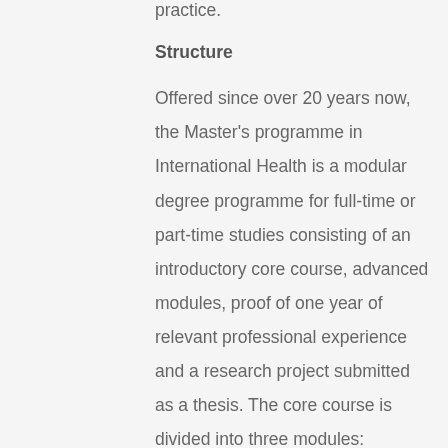practice.
Structure
Offered since over 20 years now, the Master's programme in International Health is a modular degree programme for full-time or part-time studies consisting of an introductory core course, advanced modules, proof of one year of relevant professional experience and a research project submitted as a thesis. The core course is divided into three modules: concepts & research methods (with a focus on epidemiology), health problems (with a focus on tropical medicine) and health